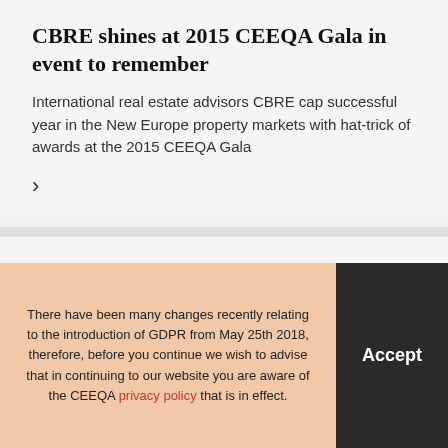CBRE shines at 2015 CEEQA Gala in event to remember
International real estate advisors CBRE cap successful year in the New Europe property markets with hat-trick of awards at the 2015 CEEQA Gala
Not much downside in ‘wall of capital’ for New Europe markets
Surge in cross-border, multi-asset deals and appetite for
There have been many changes recently relating to the introduction of GDPR from May 25th 2018, therefore, before you continue we wish to advise that in continuing to our website you are aware of the CEEQA privacy policy that is in effect.
Accept